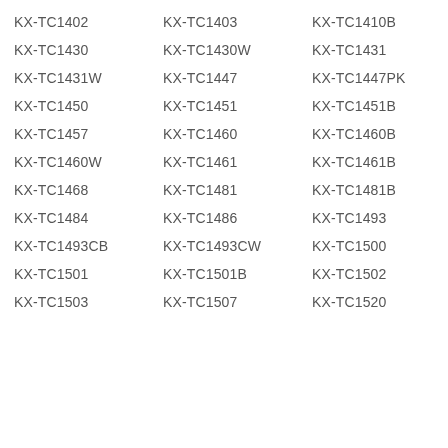KX-TC1402
KX-TC1403
KX-TC1410B
KX-TC1430
KX-TC1430W
KX-TC1431
KX-TC1431W
KX-TC1447
KX-TC1447PK
KX-TC1450
KX-TC1451
KX-TC1451B
KX-TC1457
KX-TC1460
KX-TC1460B
KX-TC1460W
KX-TC1461
KX-TC1461B
KX-TC1468
KX-TC1481
KX-TC1481B
KX-TC1484
KX-TC1486
KX-TC1493
KX-TC1493CB
KX-TC1493CW
KX-TC1500
KX-TC1501
KX-TC1501B
KX-TC1502
KX-TC1503
KX-TC1507
KX-TC1520